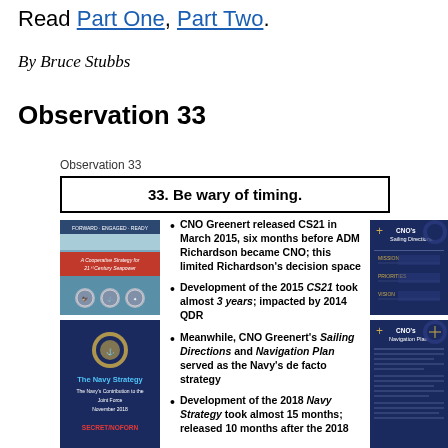Read Part One, Part Two.
By Bruce Stubbs
Observation 33
Observation 33
33. Be wary of timing.
[Figure (illustration): Cover of 'A Cooperative Strategy for 21st Century Seapower' document with military service branch seals]
[Figure (illustration): Dark blue cover of 'The Navy Strategy - The Navy's Contribution to the Joint Force November 2018' marked SECRET/NOFORN]
CNO Greenert released CS21 in March 2015, six months before ADM Richardson became CNO; this limited Richardson's decision space
Development of the 2015 CS21 took almost 3 years; impacted by 2014 QDR
[Figure (illustration): CNO's Sailing Directions document cover - dark blue with CNO's Sailing Directions title and sections for Mission, Priorities, Vision]
Meanwhile, CNO Greenert's Sailing Directions and Navigation Plan served as the Navy's de facto strategy
Development of the 2018 Navy Strategy took almost 15 months; released 10 months after the 2018
[Figure (illustration): CNO's Navigation Plan document cover - dark blue]